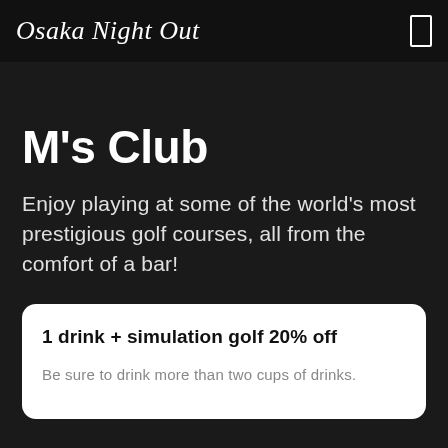Osaka Night Out
M's Club
Enjoy playing at some of the world's most prestigious golf courses, all from the comfort of a bar!
1 drink + simulation golf 20% off
Be sure to drink more than two cups of drinks.